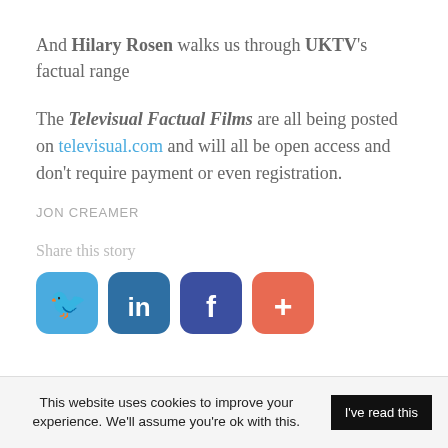And Hilary Rosen walks us through UKTV's factual range
The Televisual Factual Films are all being posted on televisual.com and will all be open access and don't require payment or even registration.
JON CREAMER
Share this story
[Figure (infographic): Four social media sharing icons: Twitter (blue bird), LinkedIn (blue 'in'), Facebook (dark blue 'f'), and a coral/red '+' more button]
This website uses cookies to improve your experience. We'll assume you're ok with this. I've read this